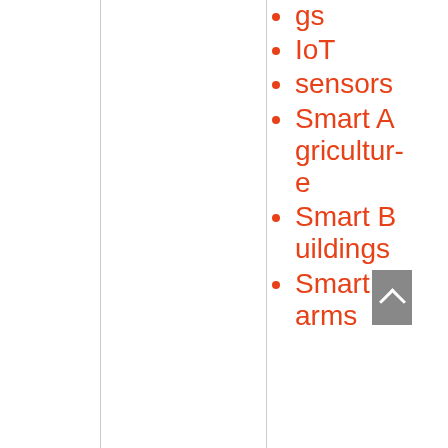gs
IoT
sensors
Smart Agriculture
Smart Buildings
Smart Farms